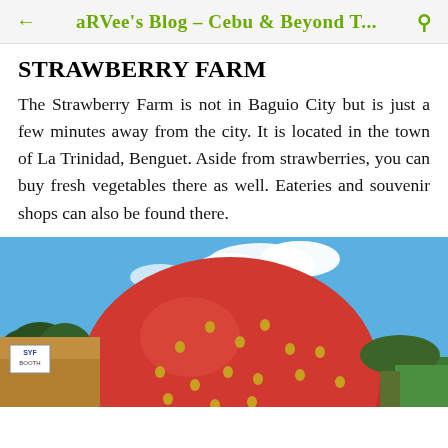← aRVee's Blog – Cebu & Beyond T...
STRAWBERRY FARM
The Strawberry Farm is not in Baguio City but is just a few minutes away from the city. It is located in the town of La Trinidad, Benguet. Aside from strawberries, you can buy fresh vegetables there as well. Eateries and souvenir shops can also be found there.
[Figure (photo): A large red strawberry sculpture at the Strawberry Farm in La Trinidad, Benguet with a blue sky background and a small SYF Booth sign visible.]